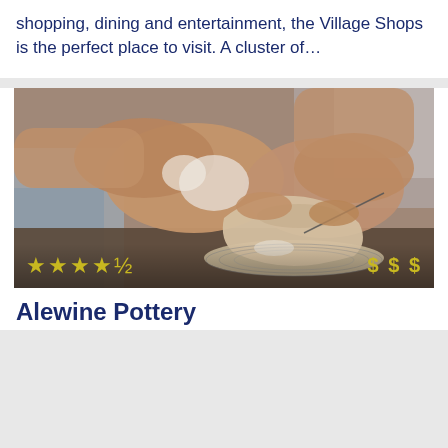shopping, dining and entertainment, the Village Shops is the perfect place to visit. A cluster of...
[Figure (photo): Hands of a potter shaping a clay vase on a spinning pottery wheel, with clay-covered hands visible]
★★★★½  $$$
Alewine Pottery